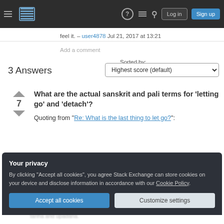Stack Exchange navigation bar with Log in and Sign up buttons
feel it. – user4878 Jul 21, 2017 at 13:21
Add a comment
Sorted by:
3 Answers
Highest score (default)
What are the actual sanskrit and pali terms for 'letting go' and 'detach'?
Quoting from "Re: What is the last thing to let go?":
Your privacy
By clicking "Accept all cookies", you agree Stack Exchange can store cookies on your device and disclose information in accordance with our Cookie Policy.
Accept all cookies
Customize settings
tanha and upadana.